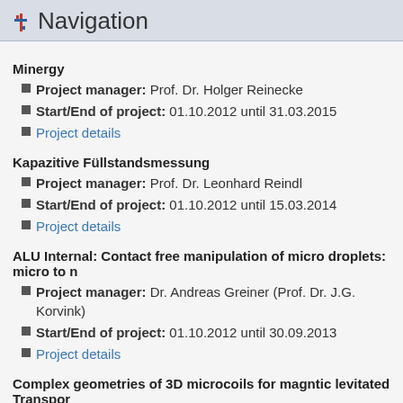Navigation
Minergy
Project manager: Prof. Dr. Holger Reinecke
Start/End of project: 01.10.2012 until 31.03.2015
Project details
Kapazitive Füllstandsmessung
Project manager: Prof. Dr. Leonhard Reindl
Start/End of project: 01.10.2012 until 15.03.2014
Project details
ALU Internal: Contact free manipulation of micro droplets: micro to n
Project manager: Dr. Andreas Greiner (Prof. Dr. J.G. Korvink)
Start/End of project: 01.10.2012 until 30.09.2013
Project details
Complex geometries of 3D microcoils for magntic levitated Transpor
Project manager: Ulrike Wallrabe
Start/End of project: 15.09.2012 until 15.09.2015
Project details